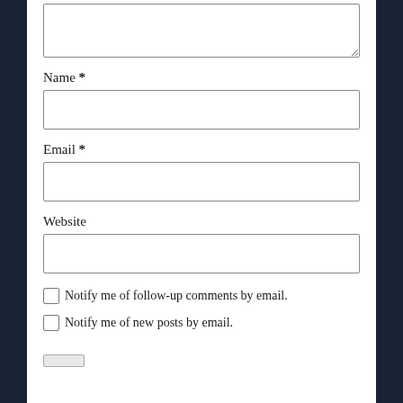[textarea - comment box top]
Name *
[input - name field]
Email *
[input - email field]
Website
[input - website field]
Notify me of follow-up comments by email.
Notify me of new posts by email.